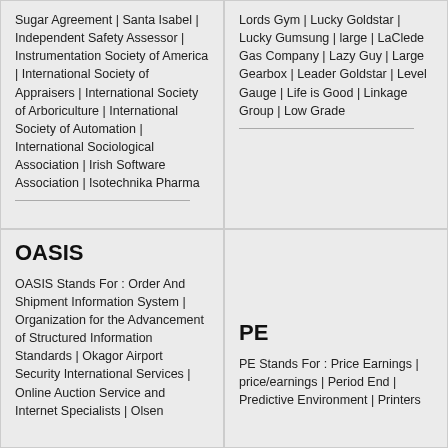Sugar Agreement | Santa Isabel | Independent Safety Assessor | Instrumentation Society of America | International Society of Appraisers | International Society of Arboriculture | International Society of Automation | International Sociological Association | Irish Software Association | Isotechnika Pharma
Lords Gym | Lucky Goldstar | Lucky Gumsung | large | LaClede Gas Company | Lazy Guy | Large Gearbox | Leader Goldstar | Level Gauge | Life is Good | Linkage Group | Low Grade
OASIS
OASIS Stands For : Order And Shipment Information System | Organization for the Advancement of Structured Information Standards | Okagor Airport Security International Services | Online Auction Service and Internet Specialists | Olsen
PE
PE Stands For : Price Earnings | price/earnings | Period End | Predictive Environment | Printers